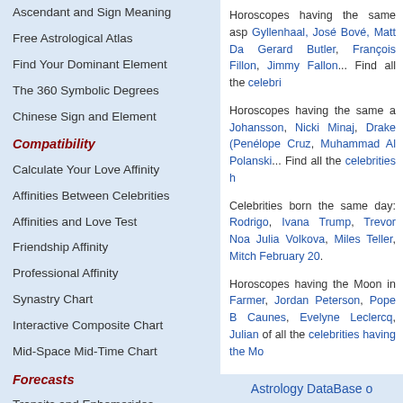Ascendant and Sign Meaning
Free Astrological Atlas
Find Your Dominant Element
The 360 Symbolic Degrees
Chinese Sign and Element
Compatibility
Calculate Your Love Affinity
Affinities Between Celebrities
Affinities and Love Test
Friendship Affinity
Professional Affinity
Synastry Chart
Interactive Composite Chart
Mid-Space Mid-Time Chart
Forecasts
Transits and Ephemerides
Free Solar Revolution
Secondary Directions
Horoscopes having the same asp... Gyllenhaal, José Bové, Matt Da... Gerard Butler, François Fillon, Jimmy Fallon... Find all the celebri...
Horoscopes having the same a... Johansson, Nicki Minaj, Drake (... Penélope Cruz, Muhammad Al... Polanski... Find all the celebrities h...
Celebrities born the same day: Rodrigo, Ivana Trump, Trevor Noa... Julia Volkova, Miles Teller, Mitch... February 20.
Horoscopes having the Moon in... Farmer, Jordan Peterson, Pope B... Caunes, Evelyne Leclercq, Julian... of all the celebrities having the Mo...
Astrology DataBase o...